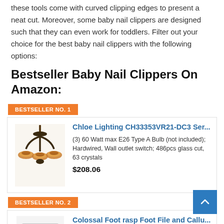these tools come with curved clipping edges to present a neat cut. Moreover, some baby nail clippers are designed such that they can even work for toddlers. Filter out your choice for the best baby nail clippers with the following options:
Bestseller Baby Nail Clippers On Amazon:
BESTSELLER NO. 1
[Figure (photo): Photo of a Chloe Lighting chandelier with stained glass shades]
Chloe Lighting CH33353VR21-DC3 Ser...
(3) 60 Watt max E26 Type A Bulb (not included); Hardwired, Wall outlet switch; 486pcs glass cut, 63 crystals
$208.06
BESTSELLER NO. 2
[Figure (photo): Photo of a foot file/rasp tool]
Colossal Foot rasp Foot File and Callu...